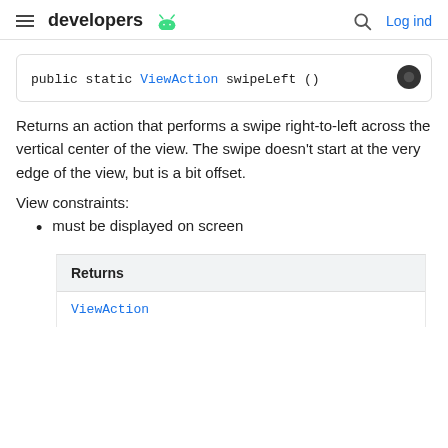developers  Log ind
Returns an action that performs a swipe right-to-left across the vertical center of the view. The swipe doesn't start at the very edge of the view, but is a bit offset.
View constraints:
must be displayed on screen
| Returns |
| --- |
| ViewAction |